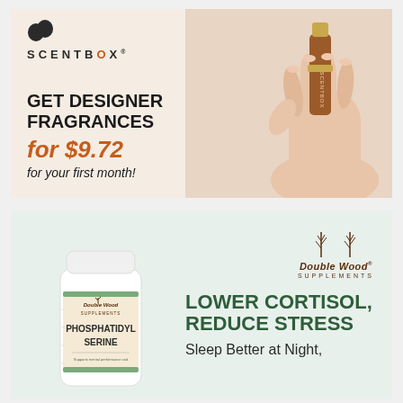[Figure (illustration): ScentBox advertisement showing a hand holding a copper/bronze perfume atomizer spray bottle. Text reads: GET DESIGNER FRAGRANCES for $9.72 for your first month! ScentBox logo with stylized leaf icon at top left.]
[Figure (illustration): Double Wood Supplements advertisement showing a white supplement bottle labeled Phosphatidyl Serine. Text reads: LOWER CORTISOL, REDUCE STRESS. Sleep Better at Night. Double Wood Supplements logo with tree icon.]